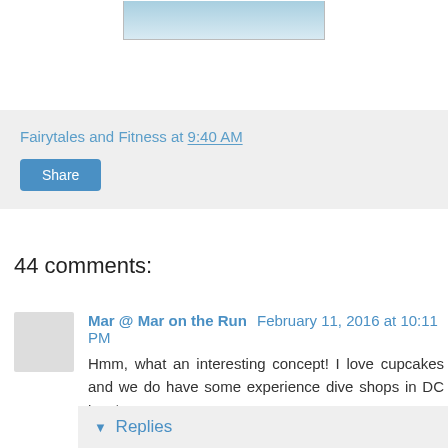[Figure (photo): Partial photo at top of page, cropped image showing sky/water scene]
Fairytales and Fitness at 9:40 AM
Share
44 comments:
Mar @ Mar on the Run  February 11, 2016 at 10:11 PM
Hmm, what an interesting concept! I love cupcakes and we do have some experience dive shops in DC but $10?! Wow...
Reply
▾ Replies